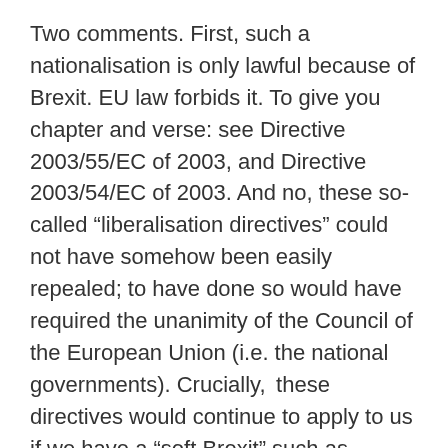Two comments. First, such a nationalisation is only lawful because of Brexit. EU law forbids it. To give you chapter and verse: see Directive 2003/55/EC of 2003, and Directive 2003/54/EC of 2003. And no, these so-called “liberalisation directives” could not have somehow been easily repealed; to have done so would have required the unanimity of the Council of the European Union (i.e. the national governments). Crucially, these directives would continue to apply to us if we have a “soft Brexit” such as membership of the European Economic Area.
Second comment is that there is no need for socialists to limit themselves to energy when it comes to expanding public ownership. The campaign’s statement about the need to address public need rather than private profit applies to